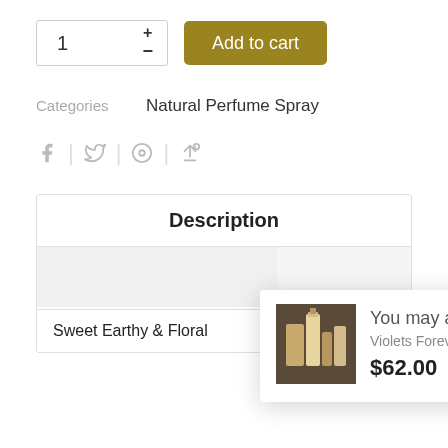1 + - Add to cart
Categories   Natural Perfume Spray
[Figure (other): Social sharing icons: Facebook, Twitter, Pinterest, Google+]
Description
Sweet Earthy & Floral
[Figure (other): You may also like popup showing product image of perfume bottles, product name Violets Forever 3ml, price $62.00]